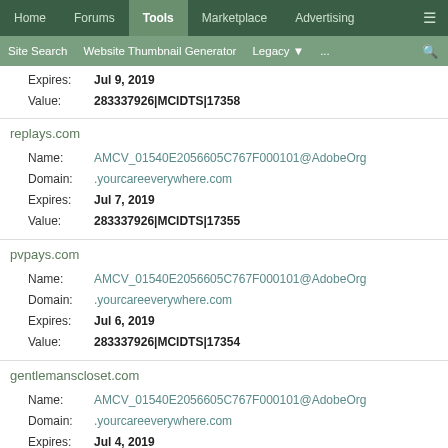Home | Forums | Tools | Marketplace | Advertising | ≡
Site Search | Website Thumbnail Generator | Legacy | ... | 🔍
Expires: Jul 9, 2019
Value: 283337926|MCIDTS|17358
replays.com
Name: AMCV_01540E2056605C767F000101@AdobeOrg
Domain: .yourcareeverywhere.com
Expires: Jul 7, 2019
Value: 283337926|MCIDTS|17355
pvpays.com
Name: AMCV_01540E2056605C767F000101@AdobeOrg
Domain: .yourcareeverywhere.com
Expires: Jul 6, 2019
Value: 283337926|MCIDTS|17354
gentlemanscloset.com
Name: AMCV_01540E2056605C767F000101@AdobeOrg
Domain: .yourcareeverywhere.com
Expires: Jul 4, 2019
Value: 283337926|MCIDTS|17352
maldicloud.com